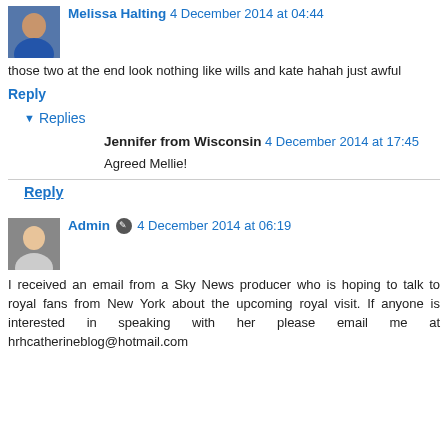Melissa Halting 4 December 2014 at 04:44
those two at the end look nothing like wills and kate hahah just awful
Reply
▼ Replies
Jennifer from Wisconsin 4 December 2014 at 17:45
Agreed Mellie!
Reply
Admin ✎ 4 December 2014 at 06:19
I received an email from a Sky News producer who is hoping to talk to royal fans from New York about the upcoming royal visit. If anyone is interested in speaking with her please email me at hrhcatherineblog@hotmail.com